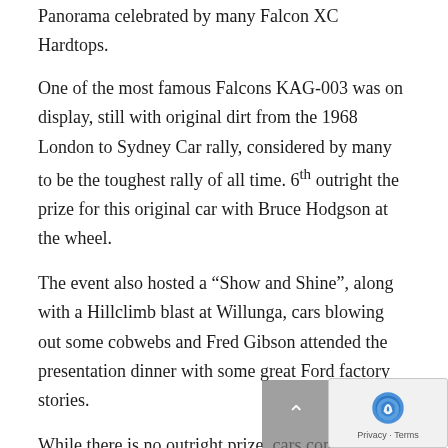Panorama celebrated by many Falcon XC Hardtops.
One of the most famous Falcons KAG-003 was on display, still with original dirt from the 1968 London to Sydney Car rally, considered by many to be the toughest rally of all time. 6th outright the prize for this original car with Bruce Hodgson at the wheel.
The event also hosted a “Show and Shine”, along with a Hillclimb blast at Willunga, cars blowing out some cobwebs and Fred Gibson attended the presentation dinner with some great Ford factory stories.
While there is no outright prize, cars compete in their respective classes and our original Falcon GT-HO Phase 3 which is totally unrestored and in original condition was awarded: